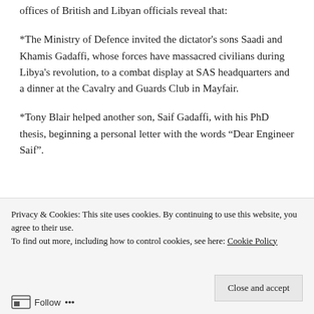offices of British and Libyan officials reveal that:
*The Ministry of Defence invited the dictator’s sons Saadi and Khamis Gadaffi, whose forces have massacred civilians during Libya’s revolution, to a combat display at SAS headquarters and a dinner at the Cavalry and Guards Club in Mayfair.
*Tony Blair helped another son, Saif Gadaffi, with his PhD thesis, beginning a personal letter with the words “Dear Engineer Saif”.
[Figure (screenshot): WordPress backup plugin advertisement banner with green background and white 'Back up your site' button]
Privacy & Cookies: This site uses cookies. By continuing to use this website, you agree to their use.
To find out more, including how to control cookies, see here: Cookie Policy